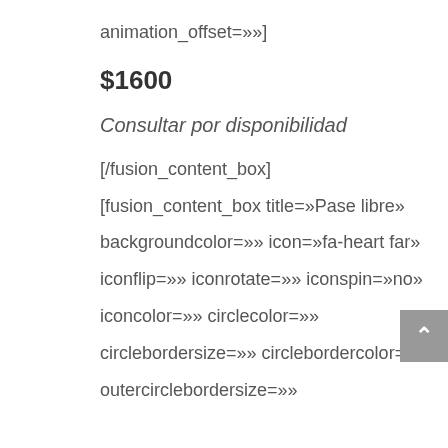animation_offset=»»]
$1600
Consultar por disponibilidad
[/fusion_content_box]
[fusion_content_box title=»Pase libre»
backgroundcolor=»» icon=»fa-heart far»
iconflip=»» iconrotate=»» iconspin=»no»
iconcolor=»» circlecolor=»»
circlebordersize=»» circlebordercolor=»»
outercirclebordersize=»»